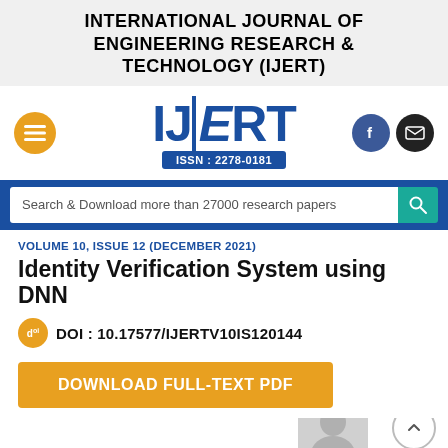INTERNATIONAL JOURNAL OF ENGINEERING RESEARCH & TECHNOLOGY (IJERT)
[Figure (logo): IJERT logo with ISSN: 2278-0181, hamburger menu button, Facebook and email icons]
Search & Download more than 27000 research papers
VOLUME 10, ISSUE 12 (DECEMBER 2021)
Identity Verification System using DNN
DOI : 10.17577/IJERTV10IS120144
DOWNLOAD FULL-TEXT PDF